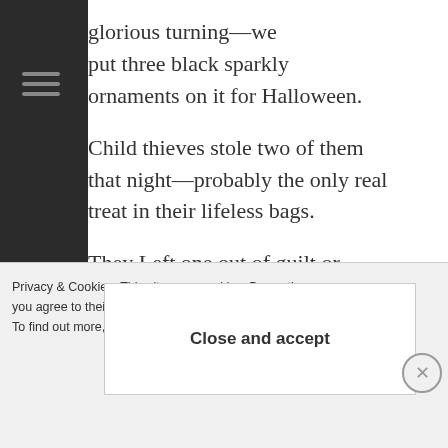glorious turning—we put three black sparkly ornaments on it for Halloween.

Child thieves stole two of them that night—probably the only real treat in their lifeless bags.

They Left one out of guilt or respect.

Out of guilt or
Privacy & Cookies: This site uses cookies. By contin you agree to their use.
To find out more, including how to control cookies
Close and accept
Post on the go.